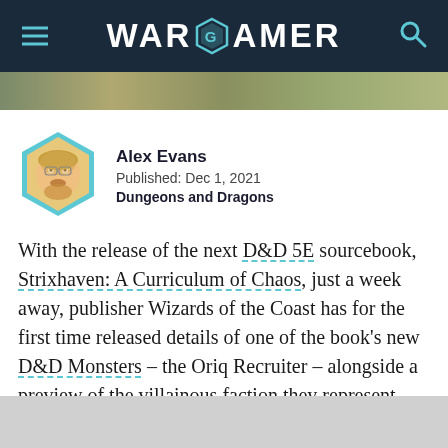WARGAMER
[Figure (photo): Partial image strip showing outdoor/nature scene]
Alex Evans
Published: Dec 1, 2021
Dungeons and Dragons
With the release of the next D&D 5E sourcebook, Strixhaven: A Curriculum of Chaos, just a week away, publisher Wizards of the Coast has for the first time released details of one of the book's new D&D Monsters – the Oriq Recruiter – alongside a preview of the villainous faction they represent.